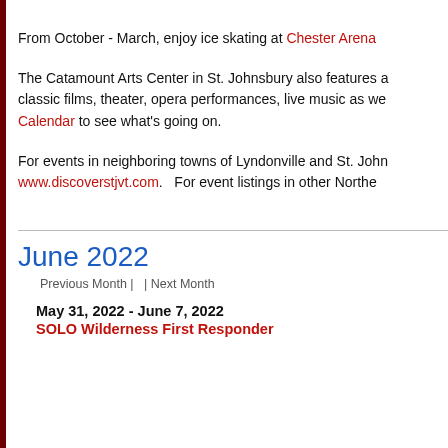From October - March, enjoy ice skating at Chester Arena
The Catamount Arts Center in St. Johnsbury also features a classic films, theater, opera performances, live music as we Calendar to see what's going on.
For events in neighboring towns of Lyndonville and St. John www.discoverstjvt.com. For event listings in other Northe
June 2022
Previous Month |   | Next Month
May 31, 2022 - June 7, 2022
SOLO Wilderness First Responder